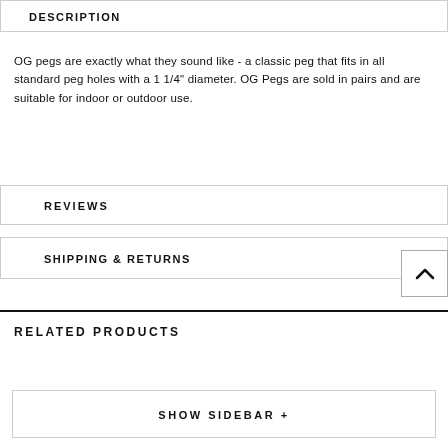DESCRIPTION
OG pegs are exactly what they sound like - a classic peg that fits in all standard peg holes with a 1 1/4" diameter. OG Pegs are sold in pairs and are suitable for indoor or outdoor use.
REVIEWS
SHIPPING & RETURNS
RELATED PRODUCTS
SHOW SIDEBAR +